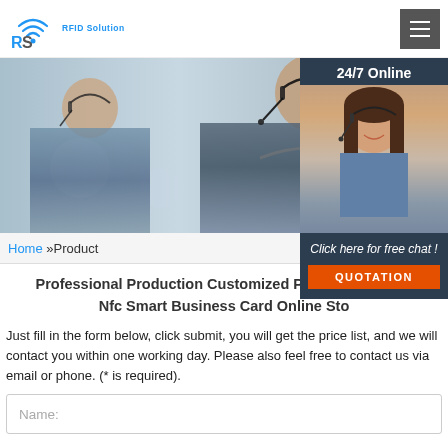[Figure (logo): RS RFID Solution logo with wifi-style icon]
[Figure (photo): Banner image showing customer service representatives wearing headsets, with a 24/7 Online chat panel overlay on the right featuring a smiling female agent]
Home »Product
Professional Production Customized Printing Nfc Card Nfc Smart Business Card Online Sto...
Just fill in the form below, click submit, you will get the price list, and we will contact you within one working day. Please also feel free to contact us via email or phone. (* is required).
Name: